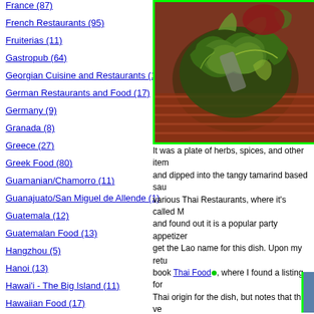France (87)
French Restaurants (95)
Fruiterias (11)
Gastropub (64)
Georgian Cuisine and Restaurants (1)
German Restaurants and Food (17)
Germany (9)
Granada (8)
Greece (27)
Greek Food (80)
Guamanian/Chamorro (11)
Guanajuato/San Miguel de Allende (1)
Guatemala (12)
Guatemalan Food (13)
Hangzhou (5)
Hanoi (13)
Hawai'i - The Big Island (11)
Hawaiian Food (17)
[Figure (photo): A plate of herbs and greens, possibly a Thai herb dish, served in a dark bowl with a spoon, on a red mat background. Green border around image.]
It was a plate of herbs, spices, and other items and dipped into the tangy tamarind based sauce various Thai Restaurants, where it's called M and found out it is a popular party appetizer get the Lao name for this dish. Upon my retu book Thai Food, where I found a listing for Thai origin for the dish, but notes that the ve few readers will chime in on this.
It was a nice palate cleansing end to the meal...in which we had finished several glasses of LaoLao and two containers of sticky rice each, in addition to all the